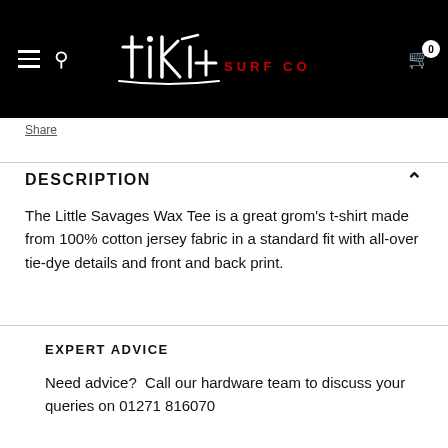[Figure (logo): Tiki Surf Co logo — white handwritten 'tiki' text with red 'SURF CO' subtitle on black background]
Share
DESCRIPTION
The Little Savages Wax Tee is a great grom's t-shirt made from 100% cotton jersey fabric in a standard fit with all-over tie-dye details and front and back print.
EXPERT ADVICE
Need advice?  Call our hardware team to discuss your queries on 01271 816070